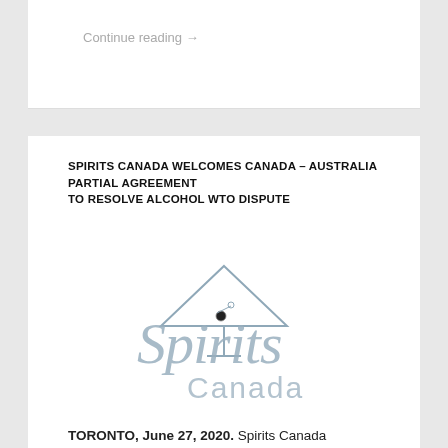Continue reading →
SPIRITS CANADA WELCOMES CANADA – AUSTRALIA PARTIAL AGREEMENT TO RESOLVE ALCOHOL WTO DISPUTE
[Figure (logo): Spirits Canada logo with martini glass icon and stylized 'Spirits Canada' text in grey/silver tones]
TORONTO, June 27, 2020. Spirits Canada welcomes today's agreement between the Governments of Canada and Australia related to the WTO dispute over the...